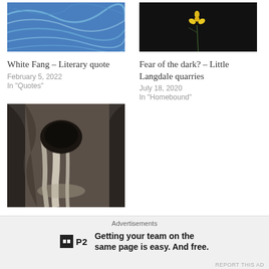[Figure (photo): Blue abstract swirly texture, top-left thumbnail]
[Figure (photo): Dark background with a single yellow flower, top-right thumbnail]
White Fang – Literary quote
February 5, 2022
In "Quotes"
Fear of the dark? – Little Langdale quarries
July 18, 2020
In "Homebound"
[Figure (photo): Cathedral cave interior with tunnels and rock formations]
Cathedral Cave – Tunnels, drops and a fish?
October 6, 2020
In "England"
Advertisements
Getting your team on the same page is easy. And free.